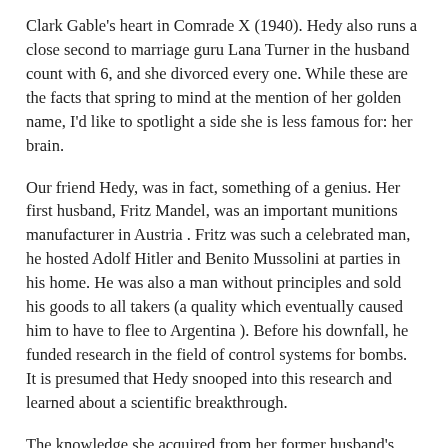Clark Gable's heart in Comrade X (1940). Hedy also runs a close second to marriage guru Lana Turner in the husband count with 6, and she divorced every one. While these are the facts that spring to mind at the mention of her golden name, I'd like to spotlight a side she is less famous for: her brain.
Our friend Hedy, was in fact, something of a genius. Her first husband, Fritz Mandel, was an important munitions manufacturer in Austria . Fritz was such a celebrated man, he hosted Adolf Hitler and Benito Mussolini at parties in his home. He was also a man without principles and sold his goods to all takers (a quality which eventually caused him to have to flee to Argentina ). Before his downfall, he funded research in the field of control systems for bombs. It is presumed that Hedy snooped into this research and learned about a scientific breakthrough.
The knowledge she acquired from her former husband's research department stayed with her and she started coming up with additions to the theory. Many years later, while Hedy was living in Hollywood , she started chatting with a musician neighbor named George Antheil. She shared her idea of "frequency hopping" for radio control of torpedoes with George. George was fascinated and